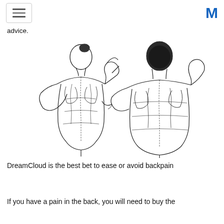≡  M
advice.
[Figure (illustration): Anatomical sketch illustration showing two figures from behind demonstrating back stretching exercises. Left figure is female with hair up, arm raised behind head with elbow bent; right figure is male with short hair, arm raised with elbow bent behind head. Both show detailed back musculature in line drawing style.]
DreamCloud is the best bet to ease or avoid backpain
If you have a pain in the back, you will need to buy the